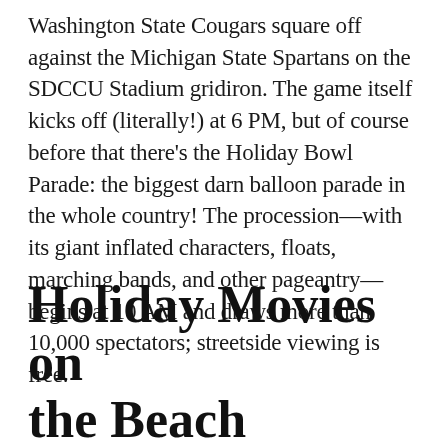Washington State Cougars square off against the Michigan State Spartans on the SDCCU Stadium gridiron. The game itself kicks off (literally!) at 6 PM, but of course before that there's the Holiday Bowl Parade: the biggest darn balloon parade in the whole country! The procession—with its giant inflated characters, floats, marching bands, and other pageantry—begins at 10 AM and draws more than 10,000 spectators; streetside viewing is free.
Holiday Movies on the Beach